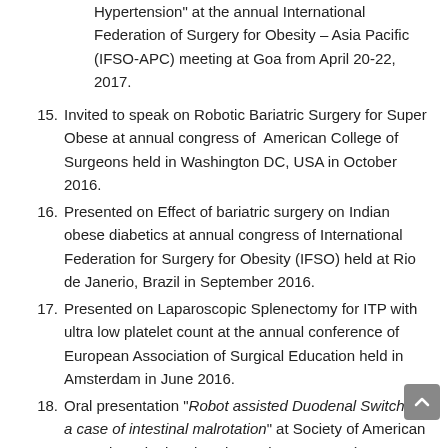Hypertension" at the annual International Federation of Surgery for Obesity – Asia Pacific (IFSO-APC) meeting at Goa from April 20-22, 2017.
15. Invited to speak on Robotic Bariatric Surgery for Super Obese at annual congress of American College of Surgeons held in Washington DC, USA in October 2016.
16. Presented on Effect of bariatric surgery on Indian obese diabetics at annual congress of International Federation for Surgery for Obesity (IFSO) held at Rio de Janerio, Brazil in September 2016.
17. Presented on Laparoscopic Splenectomy for ITP with ultra low platelet count at the annual conference of European Association of Surgical Education held in Amsterdam in June 2016.
18. Oral presentation "Robot assisted Duodenal Switch in a case of intestinal malrotation" at Society of American Gastrointestinal and Endoscopic Surgeons (SAGES 2015) held at Nashville, TN from April 15-18, 2015.